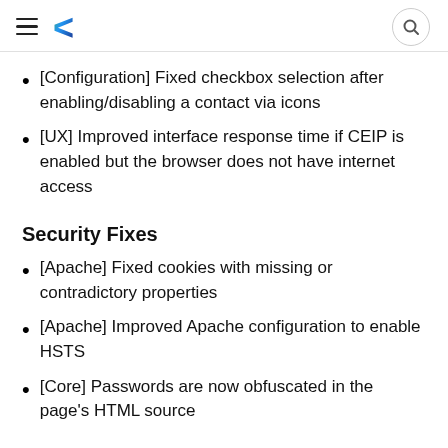Navigation header with hamburger menu, colorful C logo, and search button
[Configuration] Fixed checkbox selection after enabling/disabling a contact via icons
[UX] Improved interface response time if CEIP is enabled but the browser does not have internet access
Security Fixes
[Apache] Fixed cookies with missing or contradictory properties
[Apache] Improved Apache configuration to enable HSTS
[Core] Passwords are now obfuscated in the page's HTML source